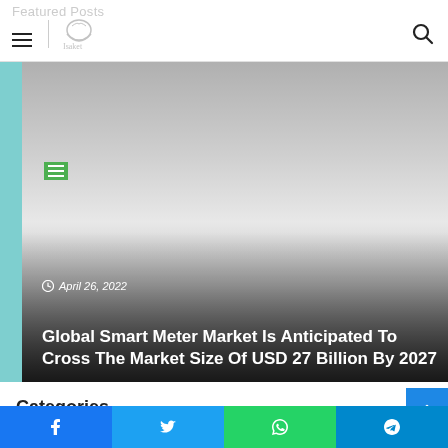Featured Posts
[Figure (screenshot): Featured blog post image with gradient overlay showing date April 26, 2022 and article title about Global Smart Meter Market]
April 26, 2022
Global Smart Meter Market Is Anticipated To Cross The Market Size Of USD 27 Billion By 2027
Categories
Animals